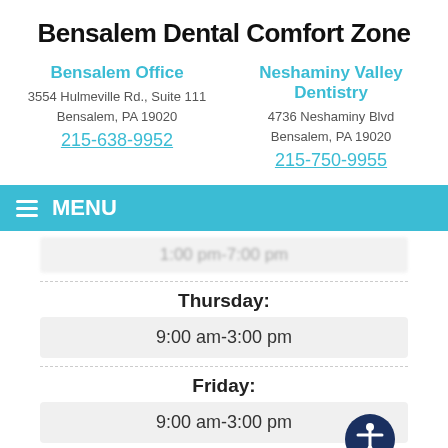Bensalem Dental Comfort Zone
Bensalem Office
3554 Hulmeville Rd., Suite 111
Bensalem, PA 19020
215-638-9952
Neshaminy Valley Dentistry
4736 Neshaminy Blvd
Bensalem, PA 19020
215-750-9955
MENU
1:00 pm-7:00 pm
Thursday:
9:00 am-3:00 pm
Friday:
9:00 am-3:00 pm
We're offline
Leave a message